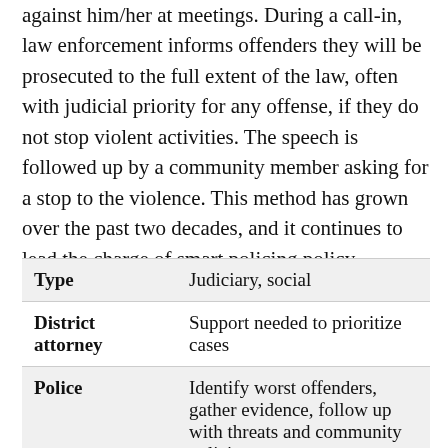against him/her at meetings. During a call-in, law enforcement informs offenders they will be prosecuted to the full extent of the law, often with judicial priority for any offense, if they do not stop violent activities. The speech is followed up by a community member asking for a stop to the violence. This method has grown over the past two decades, and it continues to lead the charge of smart policing policy.
| Type | Judiciary, social |
| District attorney | Support needed to prioritize cases |
| Police | Identify worst offenders, gather evidence, follow up with threats and community policing |
|  | Executive support to get |